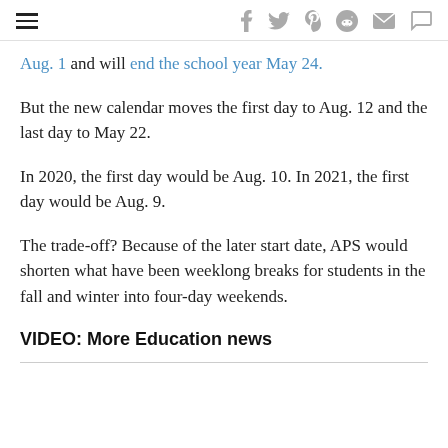≡  f  🐦  p  reddit  ✉  💬
Aug. 1 and will end the school year May 24.
But the new calendar moves the first day to Aug. 12 and the last day to May 22.
In 2020, the first day would be Aug. 10. In 2021, the first day would be Aug. 9.
The trade-off? Because of the later start date, APS would shorten what have been weeklong breaks for students in the fall and winter into four-day weekends.
VIDEO: More Education news